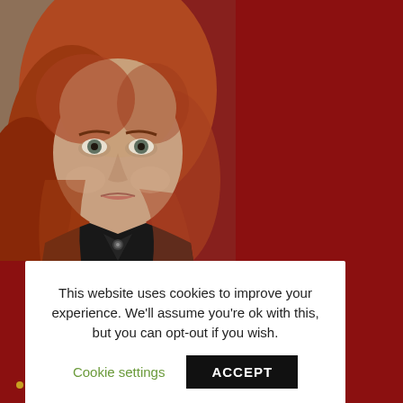[Figure (photo): Portrait photograph of a woman with long red/auburn hair wearing a dark jacket with a small brooch, looking directly at camera. Background is blurred indoor scene.]
This website uses cookies to improve your experience. We'll assume you're ok with this, but you can opt-out if you wish.
Cookie settings
ACCEPT
Kirsty MacColl Primer